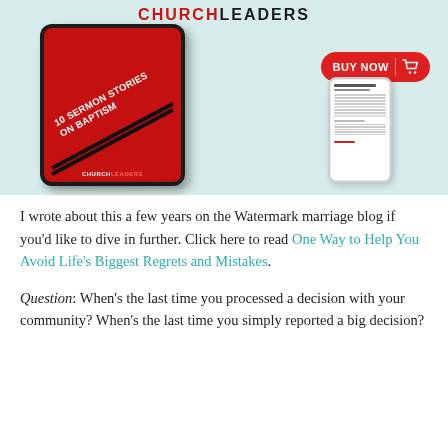[Figure (illustration): ChurchLeaders advertisement banner showing a tablet with a red cover '10 Sermon Stories on Baptism', a phone showing a document, and a red 'BUY NOW' button with shopping cart icon, on a light teal background.]
I wrote about this a few years on the Watermark marriage blog if you'd like to dive in further. Click here to read One Way to Help You Avoid Life's Biggest Regrets and Mistakes.
Question: When's the last time you processed a decision with your community? When's the last time you simply reported a big decision?